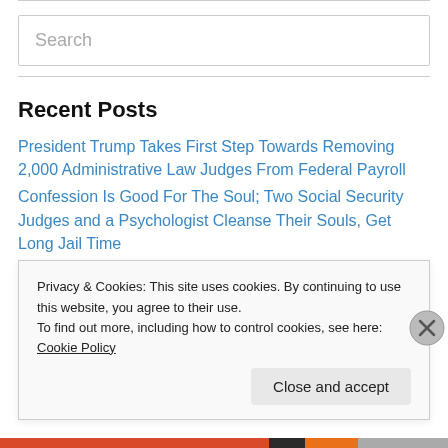[Figure (other): Search input box with placeholder text 'Search']
Recent Posts
President Trump Takes First Step Towards Removing 2,000 Administrative Law Judges From Federal Payroll
Confession Is Good For The Soul; Two Social Security Judges and a Psychologist Cleanse Their Souls, Get Long Jail Time
The Coast Guard Academy Class of 2018
When Will SSA Get A Real Commissioner, If Ever?
Privacy & Cookies: This site uses cookies. By continuing to use this website, you agree to their use. To find out more, including how to control cookies, see here: Cookie Policy